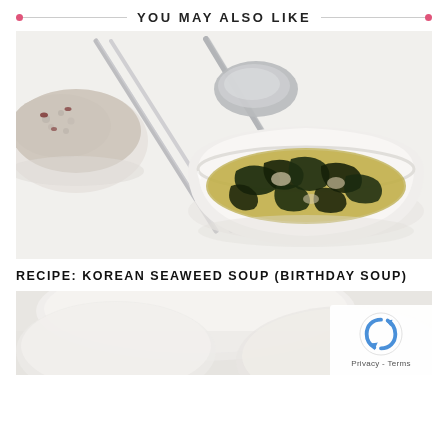YOU MAY ALSO LIKE
[Figure (photo): A white bowl of Korean seaweed soup (miyeok-guk) with dark green seaweed and broth, alongside a bowl of mixed rice and stainless steel chopsticks and spoon on a white surface.]
RECIPE: KOREAN SEAWEED SOUP (BIRTHDAY SOUP)
[Figure (photo): Partial view of a white bowl, bottom portion of a similar Korean dish, cropped at bottom of page.]